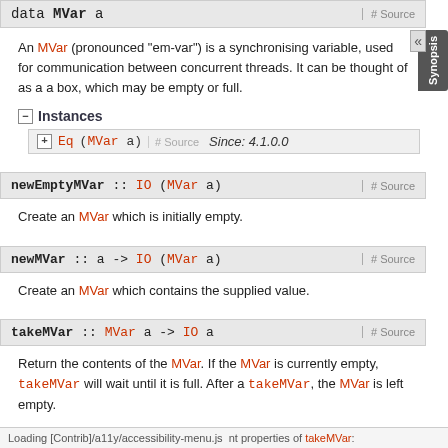data MVar a
An MVar (pronounced "em-var") is a synchronising variable, used for communication between concurrent threads. It can be thought of as a a box, which may be empty or full.
Instances
Eq (MVar a) # Source  Since: 4.1.0.0
newEmptyMVar :: IO (MVar a)
Create an MVar which is initially empty.
newMVar :: a -> IO (MVar a)
Create an MVar which contains the supplied value.
takeMVar :: MVar a -> IO a
Return the contents of the MVar. If the MVar is currently empty, takeMVar will wait until it is full. After a takeMVar, the MVar is left empty.
Loading [Contrib]/a11y/accessibility-menu.js  nt properties of takeMVar: